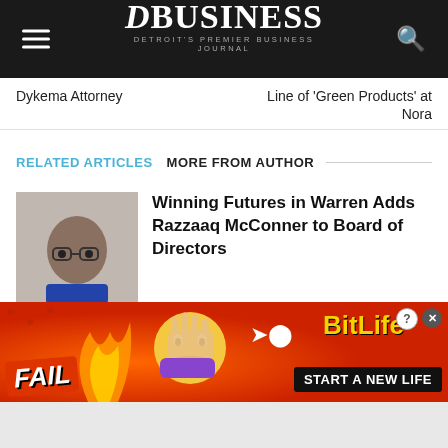DBUSINESS — Detroit's Premier Business Journal
Dykema Attorney
Line of 'Green Products' at Nora
RELATED ARTICLES   MORE FROM AUTHOR
[Figure (photo): Headshot photo of Razzaaq McConner]
Winning Futures in Warren Adds Razzaaq McConner to Board of Directors
[Figure (photo): Headshot photo of Krista Capp]
Southfield's Farbman Group Names Krista Capp Senior VP of Property
[Figure (advertisement): BitLife mobile game advertisement — FAIL emoji, flame graphic, BitLife logo, START A NEW LIFE button on red/orange background]